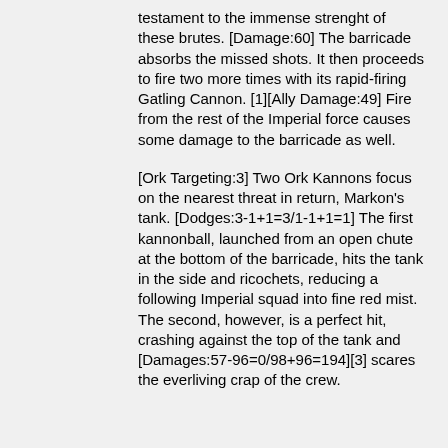testament to the immense strenght of these brutes. [Damage:60] The barricade absorbs the missed shots. It then proceeds to fire two more times with its rapid-firing Gatling Cannon. [1][Ally Damage:49] Fire from the rest of the Imperial force causes some damage to the barricade as well.
[Ork Targeting:3] Two Ork Kannons focus on the nearest threat in return, Markon's tank. [Dodges:3-1+1=3/1-1+1=1] The first kannonball, launched from an open chute at the bottom of the barricade, hits the tank in the side and ricochets, reducing a following Imperial squad into fine red mist. The second, however, is a perfect hit, crashing against the top of the tank and [Damages:57-96=0/98+96=194][3] scares the everliving crap of the crew.